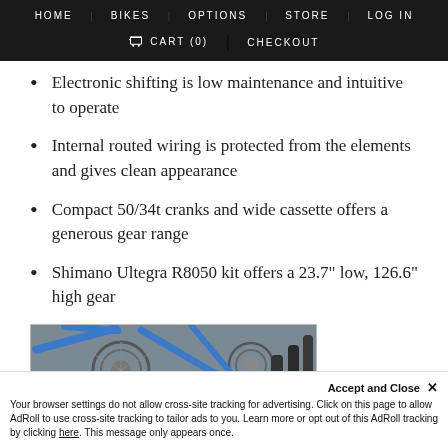HOME  BIKES  OPTIONS  STORE  LOG IN  🛒 CART (0)  CHECKOUT
Electronic shifting is low maintenance and intuitive to operate
Internal routed wiring is protected from the elements and gives clean appearance
Compact 50/34t cranks and wide cassette offers a generous gear range
Shimano Ultegra R8050 kit offers a 23.7" low, 126.6" high gear
[Figure (photo): Close-up photo of a bicycle drivetrain showing a blue bike frame, chainring/crankset and cassette components]
Accept and Close ✕
Your browser settings do not allow cross-site tracking for advertising. Click on this page to allow AdRoll to use cross-site tracking to tailor ads to you. Learn more or opt out of this AdRoll tracking by clicking here. This message only appears once.